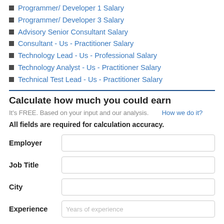Programmer/ Developer 1 Salary
Programmer/ Developer 3 Salary
Advisory Senior Consultant Salary
Consultant - Us - Practitioner Salary
Technology Lead - Us - Professional Salary
Technology Analyst - Us - Practitioner Salary
Technical Test Lead - Us - Practitioner Salary
Calculate how much you could earn
It's FREE. Based on your input and our analysis.    How we do it?
All fields are required for calculation accuracy.
Employer [input field]
Job Title [input field]
City [input field]
Experience [Years of experience input field]